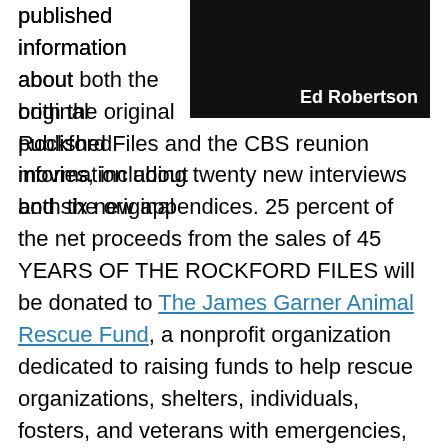[Figure (photo): Dark/black photo with text 'Ed Robertson' in bold white font at bottom right]
published information about both the original Rockford Files and the CBS reunion movies, including twenty new interviews and six new appendices. 25 percent of the net proceeds from the sales of 45 YEARS OF THE ROCKFORD FILES will be donated to The James Garner Animal Rescue Fund, a nonprofit organization dedicated to raising funds to help rescue organizations, shelters, individuals, fosters, and veterans with emergencies, evacuations, medical care, adoptions, training, pet supplies, shelter, rehabilitation, boarding, transportation, food, and other pressing needs. JGARF is one way for Garner fans to honor Jim's memory and extend his legacy. Plus, if you order 45 YEARS OF THE